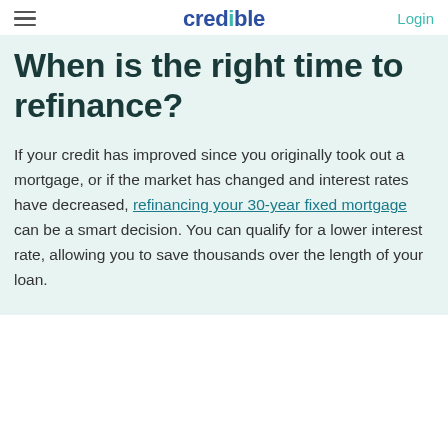credible — Login
When is the right time to refinance?
If your credit has improved since you originally took out a mortgage, or if the market has changed and interest rates have decreased, refinancing your 30-year fixed mortgage can be a smart decision. You can qualify for a lower interest rate, allowing you to save thousands over the length of your loan.